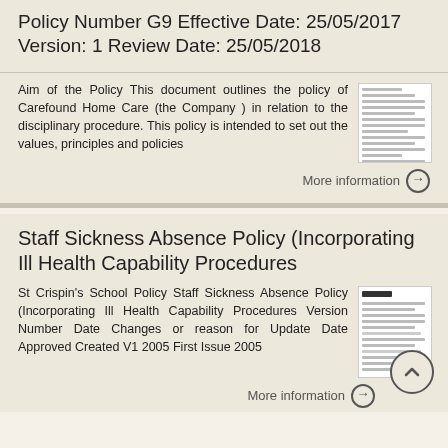Policy Number G9 Effective Date: 25/05/2017 Version: 1 Review Date: 25/05/2018
Aim of the Policy This document outlines the policy of Carefound Home Care (the Company ) in relation to the disciplinary procedure. This policy is intended to set out the values, principles and policies
[Figure (screenshot): Thumbnail preview of a policy document page]
More information
Staff Sickness Absence Policy (Incorporating Ill Health Capability Procedures
St Crispin's School Policy Staff Sickness Absence Policy (Incorporating Ill Health Capability Procedures Version Number Date Changes or reason for Update Date Approved Created V1 2005 First Issue 2005
[Figure (screenshot): Thumbnail preview of a staff sickness absence policy document page]
More information